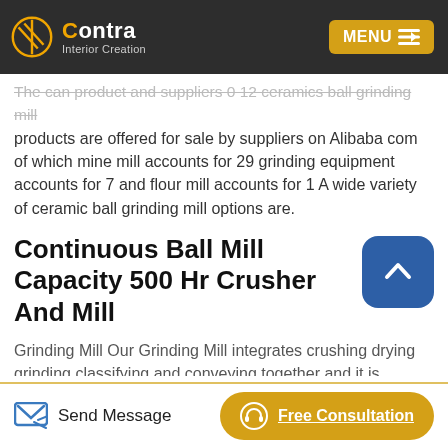Contra Interior Creation — MENU
The can product and suppliers 0 12 ceramics ball grinding mill products are offered for sale by suppliers on Alibaba com of which mine mill accounts for 29 grinding equipment accounts for 7 and flour mill accounts for 1 A wide variety of ceramic ball grinding mill options are.
Continuous Ball Mill Capacity 500 Hr Crusher And Mill
Grinding Mill Our Grinding Mill integrates crushing drying grinding classifying and conveying together and it is specialized in processing non metallic minerals pulverized coal and slag Its coverage area is reduced by 50 compared with ball mill and the energy consumption is.
Send Message   Free Consultation